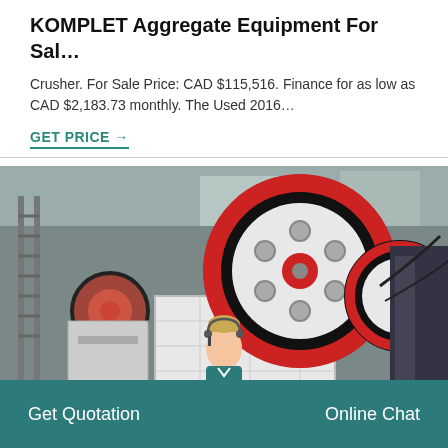KOMPLET Aggregate Equipment For Sal…
Crusher. For Sale Price: CAD $115,516. Finance for as low as CAD $2,183.73 monthly. The Used 2016…
GET PRICE →
[Figure (photo): Industrial jaw crusher machine with large red and black flywheel, white body, photographed in a factory/industrial setting]
Get Quotation
Online Chat